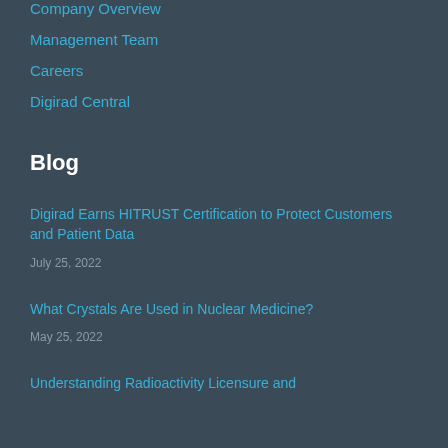Company Overview
Management Team
Careers
Digirad Central
Blog
Digirad Earns HITRUST Certification to Protect Customers and Patient Data
July 25, 2022
What Crystals Are Used in Nuclear Medicine?
May 25, 2022
Understanding Radioactivity Licensure and